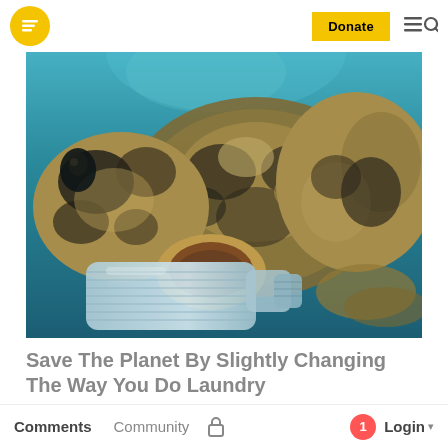[Figure (logo): Yellow circle logo with white speech bubble / lines icon]
[Figure (photo): Underwater photo of a sea turtle biting/holding a white plastic bottle in its mouth, set against a blue-green ocean background]
Save The Planet By Slightly Changing The Way You Do Laundry
EarthBreeze
Comments   Community   [lock icon]   1   Login